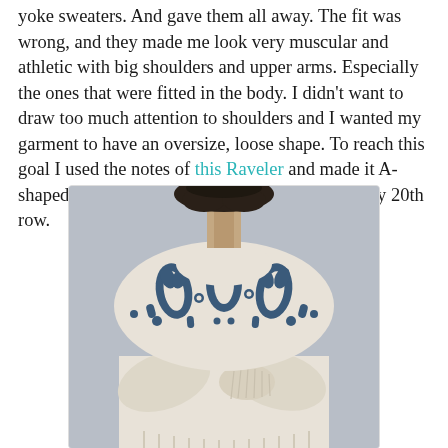yoke sweaters. And gave them all away. The fit was wrong, and they made me look very muscular and athletic with big shoulders and upper arms. Especially the ones that were fitted in the body. I didn't want to draw too much attention to shoulders and I wanted my garment to have an oversize, loose shape. To reach this goal I used the notes of this Raveler and made it A-shaped with 4 body increases at the sides in every 20th row.
[Figure (photo): A person wearing a cream/white oversized yoke sweater with blue Nordic/Fair Isle leaf pattern on the yoke, arms crossed, photographed from neck down against a light grey background.]